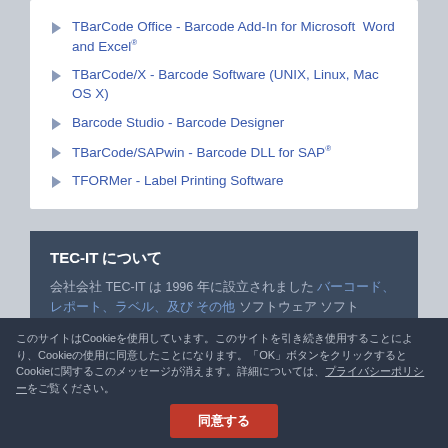TBarCode Office - Barcode Add-In for Microsoft Word and Excel®
TBarCode/X - Barcode Software (UNIX, Linux, Mac OS X)
Barcode Studio - Barcode Designer
TBarCode/SAPwin - Barcode DLL for SAP®
TFORMer - Label Printing Software
TEC-IT について
会社 TEC-IT は 1996 年に設立されました バーコード、レポート、ラベル 及び その他 ソフトウェア
製品ポートフォリオには TFORMer, TBarCode & Barcode Studio が含まれており TWorker & ServerITe Office 等
このサイトはCookieを使用しています。このサイトを引き続き使用することにより、Cookieの使用に同意したことになります。「OK」ボタンを クリックするとCookieに関するこのメッセージが消えます。詳細については、プライバシーポリシーをご覧ください。